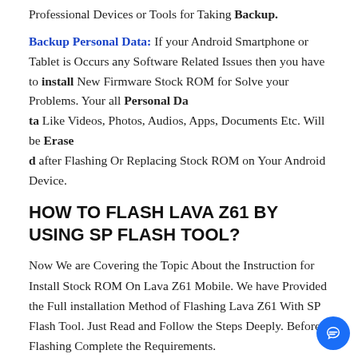Professional Devices or Tools for Taking Backup.
Backup Personal Data: If your Android Smartphone or Tablet is Occurs any Software Related Issues then you have to install New Firmware Stock ROM for Solve your Problems. Your all Personal Data Like Videos, Photos, Audios, Apps, Documents Etc. Will be Erased after Flashing Or Replacing Stock ROM on Your Android Device.
HOW TO FLASH LAVA Z61 BY USING SP FLASH TOOL?
Now We are Covering the Topic About the Instruction for Install Stock ROM On Lava Z61 Mobile. We have Provided the Full installation Method of Flashing Lava Z61 With SP Flash Tool. Just Read and Follow the Steps Deeply. Before Flashing Complete the Requirements.
Download The Installation Package From the Download Link Below.